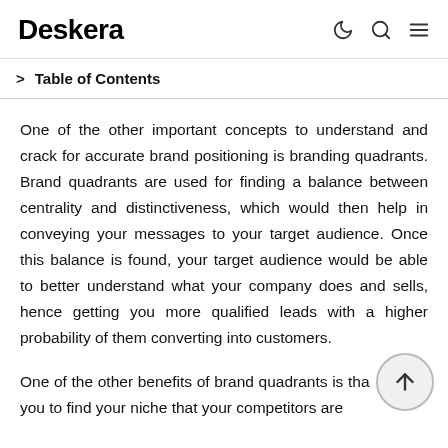Deskera
> Table of Contents
One of the other important concepts to understand and crack for accurate brand positioning is branding quadrants. Brand quadrants are used for finding a balance between centrality and distinctiveness, which would then help in conveying your messages to your target audience. Once this balance is found, your target audience would be able to better understand what your company does and sells, hence getting you more qualified leads with a higher probability of them converting into customers.
One of the other benefits of brand quadrants is that it helps you to find your niche that your competitors are